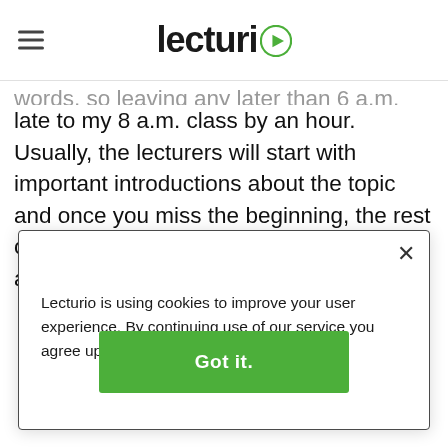Lecturio (logo with play icon)
words, so leaving any later than 6 a.m. would make me late to my 8 a.m. class by an hour. Usually, the lecturers will start with important introductions about the topic and once you miss the beginning, the rest of the lecture becomes hard to follow and a total blur.
Lecturio is using cookies to improve your user experience. By continuing use of our service you agree upon our Data Privacy Statement
Got it.